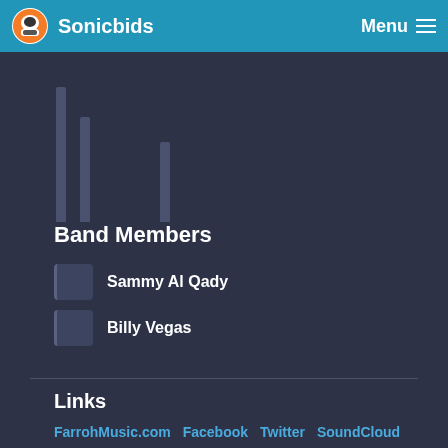Sonicbids  Menu
[Figure (other): Three vertical grey bars of varying heights on dark background]
Band Members
Sammy Al Qady
Billy Vegas
Links
FarrohMusic.com  Facebook  Twitter  SoundCloud  YouTube  Instagram